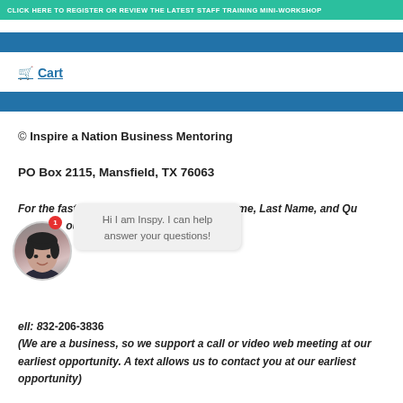CLICK HERE TO REGISTER OR REVIEW THE LATEST STAFF TRAINING MINI-WORKSHOP
Cart
© Inspire a Nation Business Mentoring
PO Box 2115, Mansfield, TX 76063
For the fastest response Text your First Name, Last Name, and Question to our cell: 832-206-3836 (We are a business, so we support a call or video web meeting at our earliest opportunity. A text allows us to contact you at our earliest opportunity)
[Figure (photo): Chat bot avatar of a woman with short dark hair, with a notification badge showing 1, and a chat popup saying 'Hi I am Inspy. I can help answer your questions!']